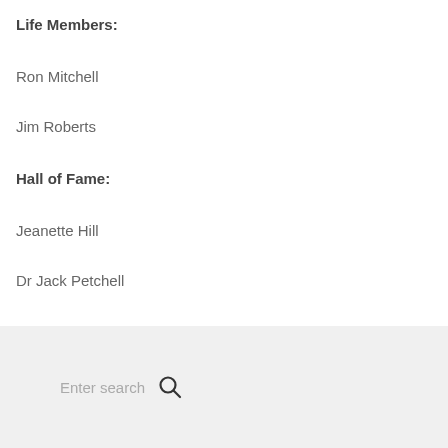Life Members:
Ron Mitchell
Jim Roberts
Hall of Fame:
Jeanette Hill
Dr Jack Petchell
[Figure (screenshot): Search bar with placeholder text 'Enter search' and a magnifying glass icon on a light grey background]